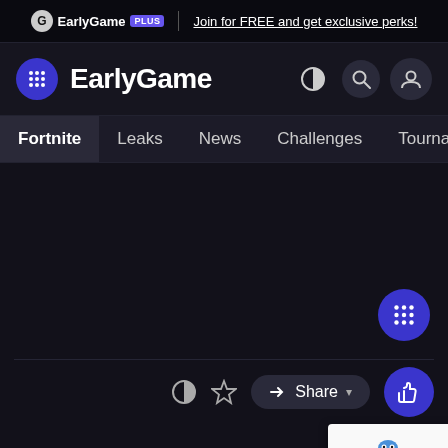EarlyGame PLUS | Join for FREE and get exclusive perks!
EarlyGame
Fortnite  Leaks  News  Challenges  Tournaments  Skins  Video
[Figure (screenshot): Dark content area of EarlyGame website with floating grid/apps button in lower right]
Share
[Figure (other): reCAPTCHA widget showing robot icon with Privacy - Terms text]